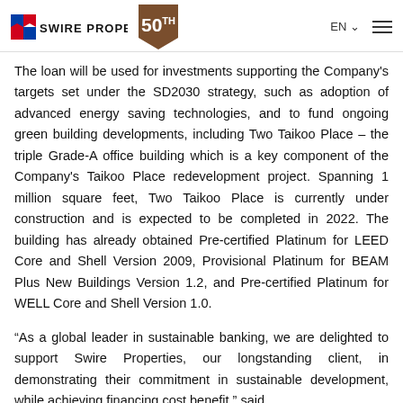Swire Properties 50TH | EN | menu
The loan will be used for investments supporting the Company's targets set under the SD2030 strategy, such as adoption of advanced energy saving technologies, and to fund ongoing green building developments, including Two Taikoo Place – the triple Grade-A office building which is a key component of the Company's Taikoo Place redevelopment project. Spanning 1 million square feet, Two Taikoo Place is currently under construction and is expected to be completed in 2022. The building has already obtained Pre-certified Platinum for LEED Core and Shell Version 2009, Provisional Platinum for BEAM Plus New Buildings Version 1.2, and Pre-certified Platinum for WELL Core and Shell Version 1.0.
“As a global leader in sustainable banking, we are delighted to support Swire Properties, our longstanding client, in demonstrating their commitment in sustainable development, while achieving financing cost benefit,” said